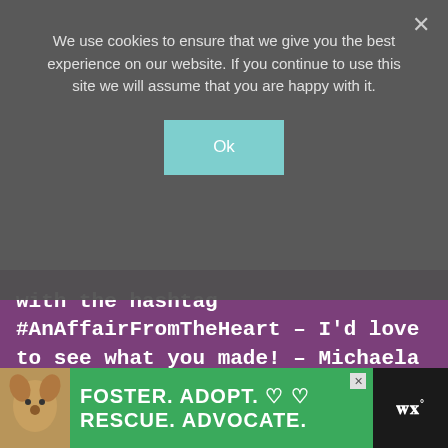We use cookies to ensure that we give you the best experience on our website. If you continue to use this site we will assume that you are happy with it.
Ok
with the hashtag #AnAffairFromTheHeart – I'd love to see what you made! – Michaela
[Figure (screenshot): Light gray placeholder box in white area]
[Figure (infographic): Bottom advertisement banner: dog image, green background with text FOSTER. ADOPT. with heart icons, RESCUE. ADVOCATE., and WW logo on right]